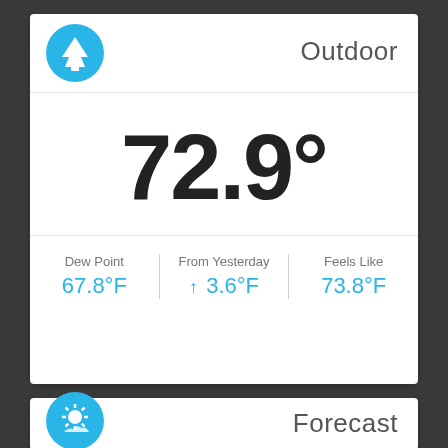Outdoor
72.9°
Dew Point 67.8°F | From Yesterday ↑ 3.6°F | Feels Like 73.8°F
Forecast